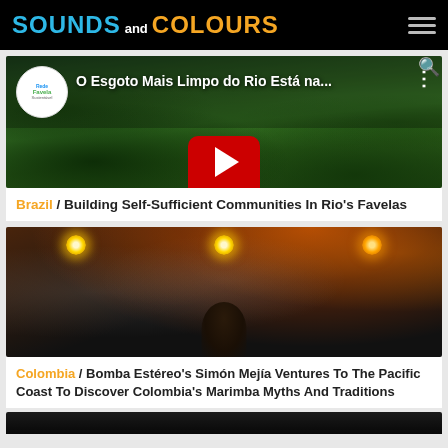SOUNDS and COLOURS
[Figure (screenshot): YouTube video thumbnail showing a jungle/forest path with green vegetation, overlaid with Rede Favela Sustentável logo badge and title 'O Esgoto Mais Limpo do Rio Está na...' with a YouTube play button]
Brazil / Building Self-Sufficient Communities In Rio's Favelas
[Figure (photo): Concert photo with warm orange stage lighting, glowing light bulbs overhead, smoke effects, and a performer partially visible in the lower center]
Colombia / Bomba Estéreo's Simón Mejía Ventures To The Pacific Coast To Discover Colombia's Marimba Myths And Traditions
[Figure (photo): Partial view of a dark image at the bottom of the page, cropped]